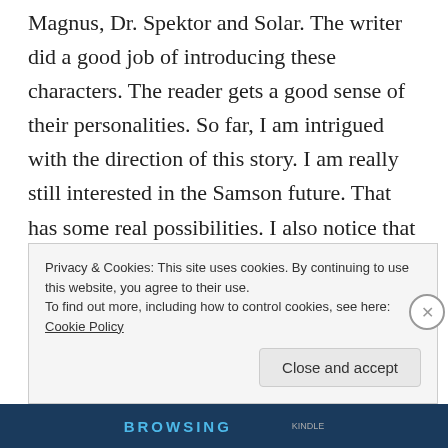Magnus, Dr. Spektor and Solar. The writer did a good job of introducing these characters. The reader gets a good sense of their personalities. So far, I am intrigued with the direction of this story. I am really still interested in the Samson future. That has some real possibilities. I also notice that the characters in the Sovereigns don't match the other stories. Plus, they only set it in what is three years in the future now a year in the past. They have some very advanced ideas for this futuristic 2020. I suppose this world is an alternate one. Otherwise, the Magnus short with the female version was way too short to properly judge. It might or might not be good.
Privacy & Cookies: This site uses cookies. By continuing to use this website, you agree to their use.
To find out more, including how to control cookies, see here: Cookie Policy
Close and accept